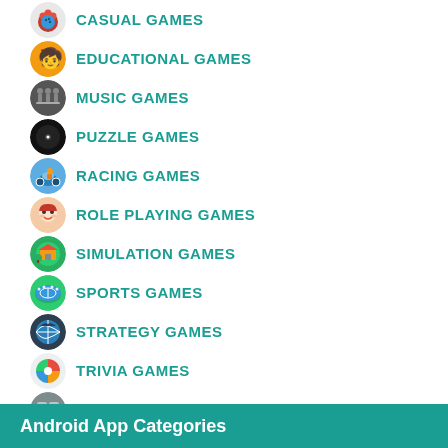CASUAL GAMES
EDUCATIONAL GAMES
MUSIC GAMES
PUZZLE GAMES
RACING GAMES
ROLE PLAYING GAMES
SIMULATION GAMES
SPORTS GAMES
STRATEGY GAMES
TRIVIA GAMES
WORD GAMES
Android App Categories